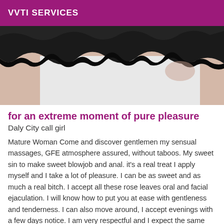VVTI SERVICES
[Figure (photo): Close-up photo of a person wearing black lace lingerie against a light background]
for an extreme moment of pure pleasure
Daly City call girl
Mature Woman Come and discover gentlemen my sensual massages, GFE atmosphere assured, without taboos. My sweet sin to make sweet blowjob and anal. it's a real treat I apply myself and I take a lot of pleasure. I can be as sweet and as much a real bitch. I accept all these rose leaves oral and facial ejaculation. I will know how to put you at ease with gentleness and tenderness. I can also move around, I accept evenings with a few days notice. I am very respectful and I expect the same